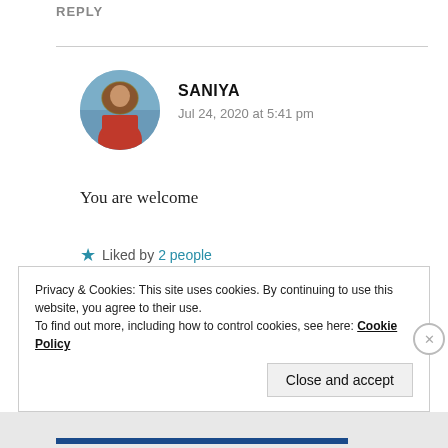REPLY
SANIYA
Jul 24, 2020 at 5:41 pm
[Figure (photo): Circular avatar photo of a woman wearing red traditional dress and head covering, standing near water]
You are welcome
★ Liked by 2 people
REPLY
Privacy & Cookies: This site uses cookies. By continuing to use this website, you agree to their use.
To find out more, including how to control cookies, see here: Cookie Policy
Close and accept